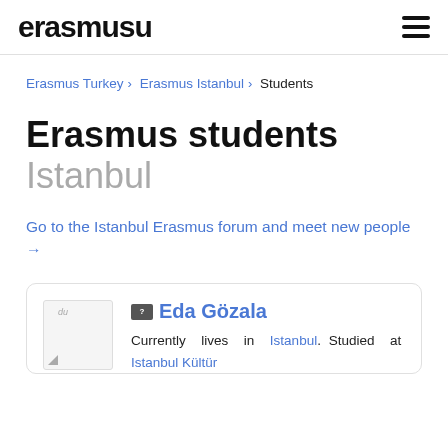erasmusu
Erasmus Turkey > Erasmus Istanbul > Students
Erasmus students Istanbul
Go to the Istanbul Erasmus forum and meet new people →
Eda Gözala
Currently lives in Istanbul. Studied at Istanbul Kültür